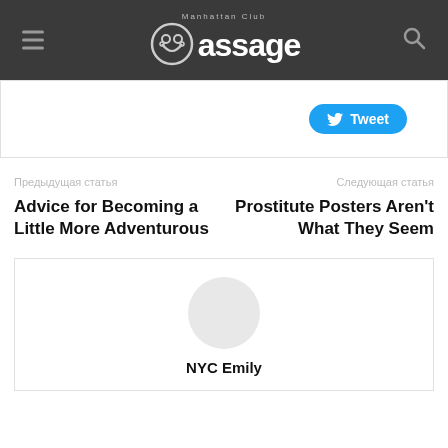Manhattan Club Massage
[Figure (screenshot): Tweet button (Twitter/X blue rounded button with bird icon and 'Tweet' text)]
Предыдущая статья
Следующая статья
Advice for Becoming a Little More Adventurous
Prostitute Posters Aren't What They Seem
NYC Emily